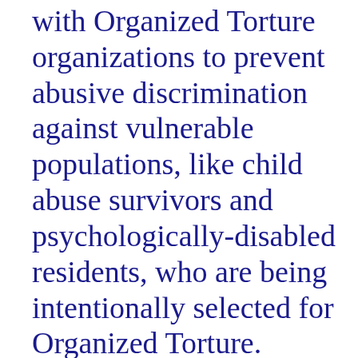with Organized Torture organizations to prevent abusive discrimination against vulnerable populations, like child abuse survivors and psychologically-disabled residents, who are being intentionally selected for Organized Torture. Victimizing of such protected classes would incur further penalties for any participating Peace Officer, making him civilly